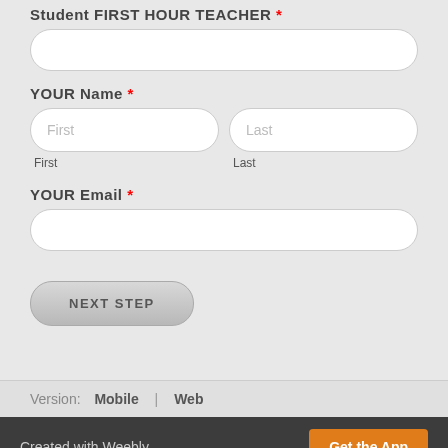Student FIRST HOUR TEACHER *
[Figure (other): Text input field for Student First Hour Teacher (rounded rectangle, white background)]
YOUR Name *
[Figure (other): Two side-by-side input fields: First and Last name, with sub-labels 'First' and 'Last']
YOUR Email *
[Figure (other): Text input field for email (rounded rectangle, white background)]
[Figure (other): NEXT STEP button, rounded, gray gradient]
Version: Mobile | Web
Created with Weebly
Get the App